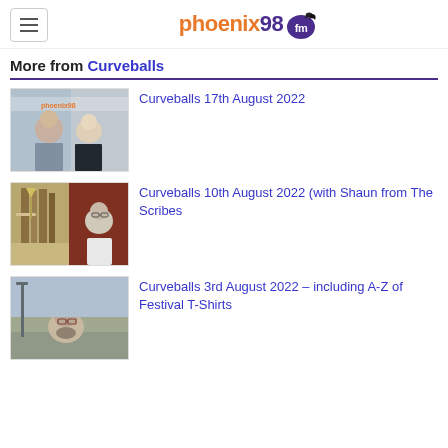phoenix98fm
More from Curveballs
[Figure (photo): Two people smiling in a radio studio with phoenix98fm branding in the background]
Curveballs 17th August 2022
[Figure (photo): Split image: bookshelf on left side, man with glasses on right side against a red curtain]
Curveballs 10th August 2022 (with Shaun from The Scribes
[Figure (photo): Man with glasses and a cap at an outdoor festival with crowd in the background]
Curveballs 3rd August 2022 – including A-Z of Festival T-Shirts